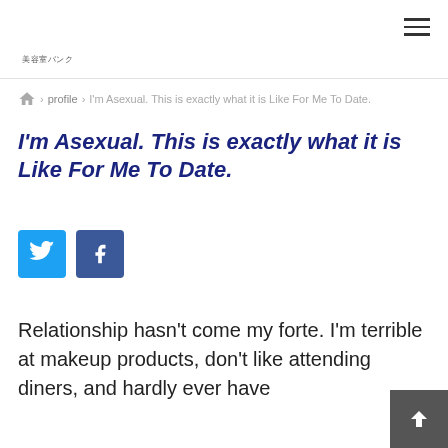美容室バンク
⌂ › profile › I'm Asexual. This is exactly what it is Like For Me To Date.
I'm Asexual. This is exactly what it is Like For Me To Date.
[Figure (other): Twitter and Facebook share buttons]
Relationship hasn't come my forte. I'm terrible at makeup products, don't like attending diners, and hardly ever have